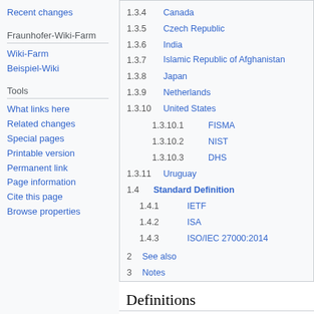Recent changes
Fraunhofer-Wiki-Farm
Wiki-Farm
Beispiel-Wiki
Tools
What links here
Related changes
Special pages
Printable version
Permanent link
Page information
Cite this page
Browse properties
1.3.4  Canada
1.3.5  Czech Republic
1.3.6  India
1.3.7  Islamic Republic of Afghanistan
1.3.8  Japan
1.3.9  Netherlands
1.3.10  United States
1.3.10.1  FISMA
1.3.10.2  NIST
1.3.10.3  DHS
1.3.11  Uruguay
1.4  Standard Definition
1.4.1  IETF
1.4.2  ISA
1.4.3  ISO/IEC 27000:2014
2  See also
3  Notes
Definitions